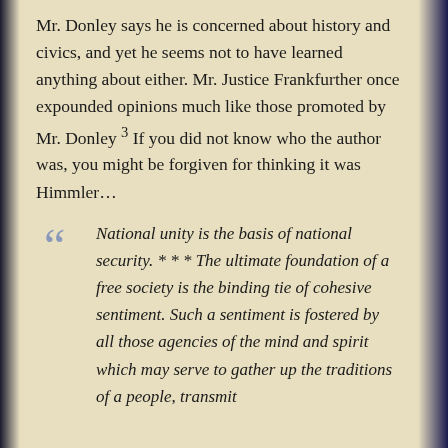Mr. Donley says he is concerned about history and civics, and yet he seems not to have learned anything about either. Mr. Justice Frankfurther once expounded opinions much like those promoted by Mr. Donley 3 If you did not know who the author was, you might be forgiven for thinking it was Himmler…
National unity is the basis of national security. * * * The ultimate foundation of a free society is the binding tie of cohesive sentiment. Such a sentiment is fostered by all those agencies of the mind and spirit which may serve to gather up the traditions of a people, transmit